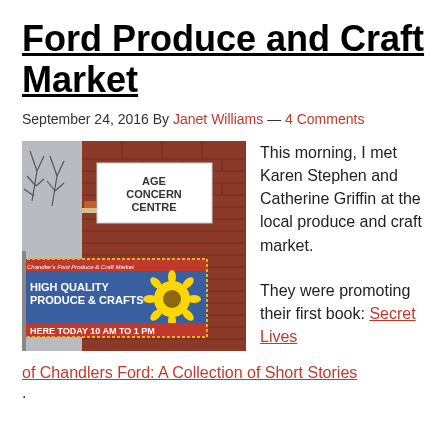Ford Produce and Craft Market
September 24, 2016 By Janet Williams — 4 Comments
[Figure (photo): Photo of Age Concern Centre sign and a banner for Chandler's Ford Produce & Craft Market reading HIGH QUALITY PRODUCE & CRAFTS and HERE TODAY 10 AM TO 1 PM, in front of a brick building]
This morning, I met Karen Stephen and Catherine Griffin at the local produce and craft market.

They were promoting their first book: Secret Lives of Chandlers Ford: A Collection of Short Stories.